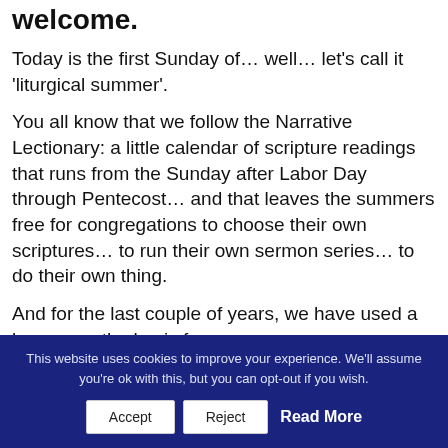Welcome.
Today is the first Sunday of… well… let's call it 'liturgical summer'.
You all know that we follow the Narrative Lectionary: a little calendar of scripture readings that runs from the Sunday after Labor Day through Pentecost… and that leaves the summers free for congregations to choose their own scriptures… to run their own sermon series… to do their own thing.
And for the last couple of years, we have used a banner as the basis for our summer sermon
This website uses cookies to improve your experience. We'll assume you're ok with this, but you can opt-out if you wish.